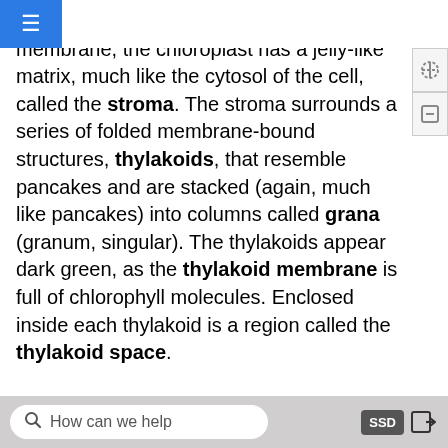ed (Keeling, 2004). Inside of the inner membrane, the chloroplast has a jelly-like matrix, much like the cytosol of the cell, called the stroma. The stroma surrounds a series of folded membrane-bound structures, thylakoids, that resemble pancakes and are stacked (again, much like pancakes) into columns called grana (granum, singular). The thylakoids appear dark green, as the thylakoid membrane is full of chlorophyll molecules. Enclosed inside each thylakoid is a region called the thylakoid space.
[Figure (illustration): Partial diagram of a chloroplast cross-section showing curved outer membrane and internal thylakoid structures, cut off at the bottom of the page.]
How can we help   SSD